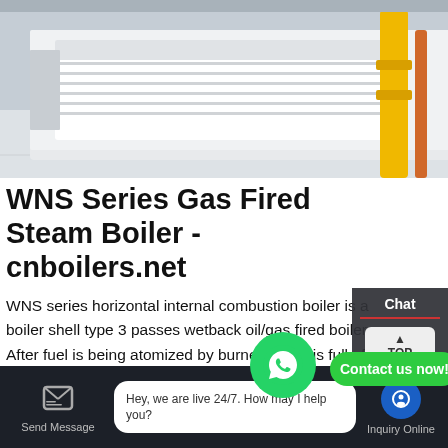[Figure (photo): Industrial boiler/machine in a factory setting. Large white equipment with yellow pipe structure visible on the right side.]
WNS Series Gas Fired Steam Boiler - cnboilers.net
WNS series horizontal internal combustion boiler is a boiler shell type 3 passes wetback oil/gas fired boiler. After fuel is being atomized by burner, flame is full of the wave furnace and transfer heat via furnace wall, this is 1st pass; the high temperature smoke is collected in reversal chamber and then enters 2nd pass which is ... d ... after heat convection, ...
Learn More
Contact us now!
Chat
En...
Contact
Hey, we are live 24/7. How may I help you?
Send Message
Inquiry Online